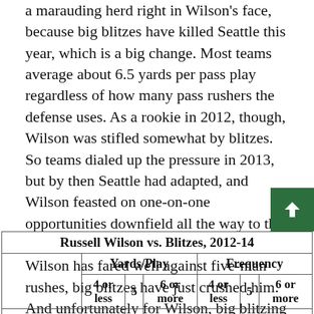a marauding herd right in Wilson's face, because big blitzes have killed Seattle this year, which is a big change. Most teams average about 6.5 yards per pass play regardless of how many pass rushers the defense uses. As a rookie in 2012, though, Wilson was stifled somewhat by blitzes. So teams dialed up the pressure in 2013, but by then Seattle had adapted, and Wilson feasted on one-on-one opportunities downfield all the way to the Super Bowl. This year, though, while Wilson has fared well against five-man rushes, big blitzes have just crushed him. And unfortunately for Wilson, big blitzing is what the Eagles do best. (Pass rusher stats come courtesy of ESPN Stats & Information.)
|  | Yards/Play |  |  | Frequency |  |  |
| --- | --- | --- | --- | --- | --- | --- |
| Pass Rushers | 4 or less | 5 | 6 or more | 4 or less | 5 | 6 or more |